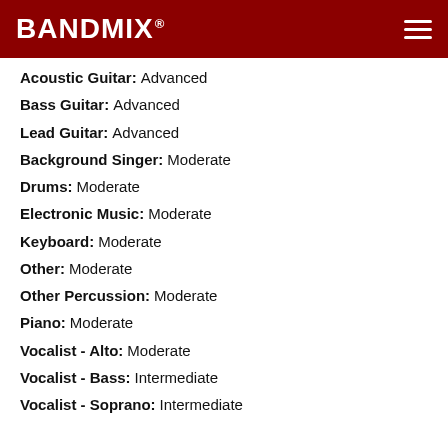BANDMIX®
Acoustic Guitar: Advanced
Bass Guitar: Advanced
Lead Guitar: Advanced
Background Singer: Moderate
Drums: Moderate
Electronic Music: Moderate
Keyboard: Moderate
Other: Moderate
Other Percussion: Moderate
Piano: Moderate
Vocalist - Alto: Moderate
Vocalist - Bass: Intermediate
Vocalist - Soprano: Intermediate